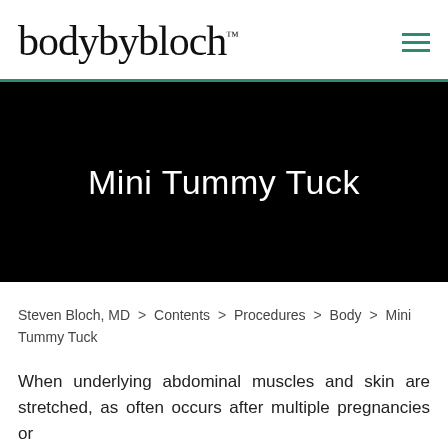bodybybloch™
[Figure (other): Black hero banner background image for Mini Tummy Tuck page]
Mini Tummy Tuck
Steven Bloch, MD > Contents > Procedures > Body > Mini Tummy Tuck
When underlying abdominal muscles and skin are stretched, as often occurs after multiple pregnancies or